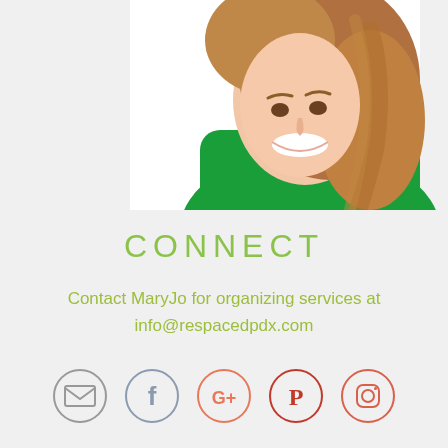[Figure (photo): Woman with brown wavy hair smiling, wearing a green top, photographed from the side/front against a white background. Only the upper body is visible, cropped at the top of the page.]
CONNECT
Contact MaryJo for organizing services at info@respacedpdx.com
[Figure (infographic): Row of five circular social media icons: email/envelope (gray), Facebook (gray-blue), Google+ (salmon/light red), Pinterest (red), Instagram (salmon/light red)]